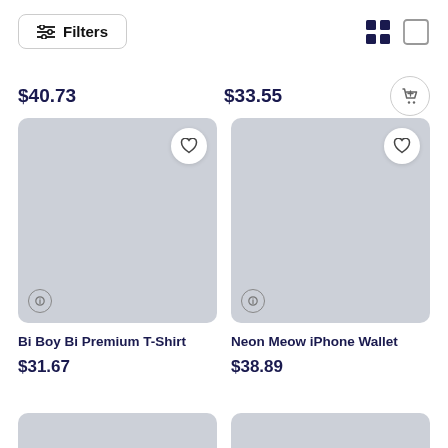Filters (button), grid view icons
$40.73
$33.55
[Figure (photo): Product image placeholder (grey rectangle) for Bi Boy Bi Premium T-Shirt with wishlist heart button and info button]
[Figure (photo): Product image placeholder (grey rectangle) for Neon Meow iPhone Wallet with wishlist heart button and info button]
Bi Boy Bi Premium T-Shirt
Neon Meow iPhone Wallet
$31.67
$38.89